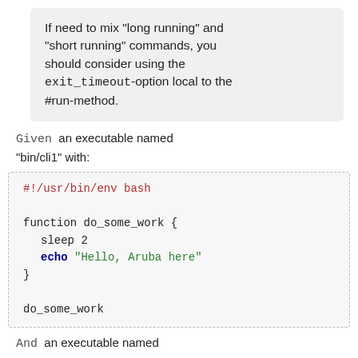If need to mix "long running" and "short running" commands, you should consider using the exit_timeout-option local to the #run-method.
Given an executable named "bin/cli1" with:
[Figure (screenshot): Code block showing bash script: #!/usr/bin/env bash, function do_some_work { sleep 2, echo "Hello, Aruba here" }, do_some_work]
And an executable named "bin/cli2" with:
[Figure (screenshot): Code block beginning with #!/usr/bin/env bash]